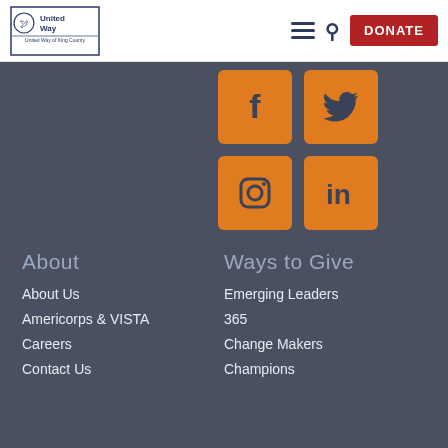[Figure (logo): United Way of King County logo with torch symbol]
[Figure (infographic): Social media icons: Facebook, Twitter, Instagram, LinkedIn on orange square backgrounds]
About
Ways to Give
About Us
Americorps & VISTA
Careers
Contact Us
Emerging Leaders
365
Change Makers
Champions